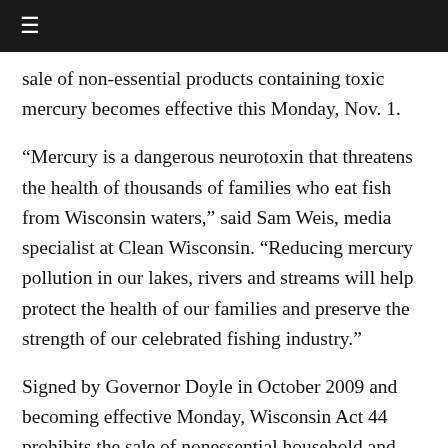≡
sale of non-essential products containing toxic mercury becomes effective this Monday, Nov. 1.
“Mercury is a dangerous neurotoxin that threatens the health of thousands of families who eat fish from Wisconsin waters,” said Sam Weis, media specialist at Clean Wisconsin. “Reducing mercury pollution in our lakes, rivers and streams will help protect the health of our families and preserve the strength of our celebrated fishing industry.”
Signed by Governor Doyle in October 2009 and becoming effective Monday, Wisconsin Act 44 prohibits the sale of nonessential household and industrial products containing toxic mercury.
“This law is written to include only products that have